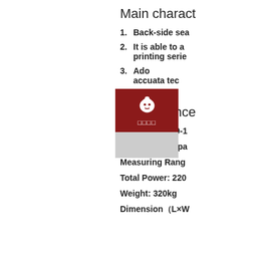Main charact
1. Back-side sea
2. It is able to a  printing serie
3. Ado  accuata tec
4. Inlig
Performance
Bag Size: L: 40-1
Production Capa
Measuring Rang
Total Power: 220
Weight: 320kg
Dimension（L×W